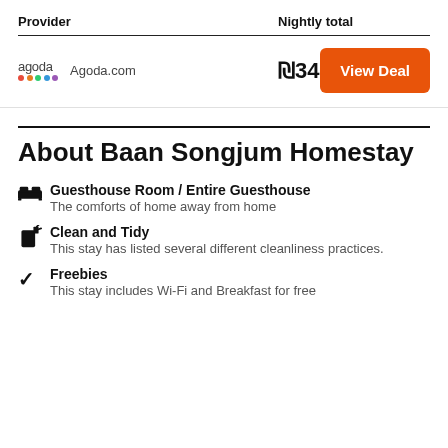| Provider | Nightly total |  |
| --- | --- | --- |
| Agoda.com | ₪34 | View Deal |
About Baan Songjum Homestay
Guesthouse Room / Entire Guesthouse – The comforts of home away from home
Clean and Tidy – This stay has listed several different cleanliness practices.
Freebies – This stay includes Wi-Fi and Breakfast for free